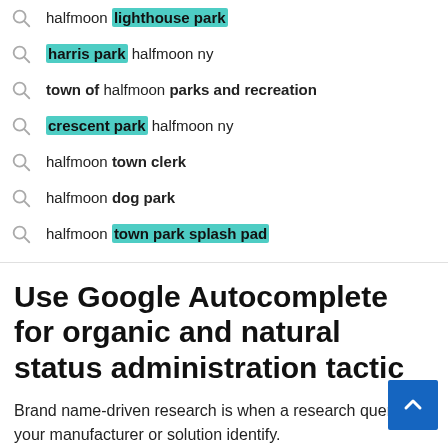[Figure (screenshot): Google autocomplete search suggestions dropdown showing halfmoon-related queries with some results highlighted in teal/green: 'lighthouse park', 'harris park', 'crescent park', 'town park splash pad']
halfmoon lighthouse park
harris park halfmoon ny
town of halfmoon parks and recreation
crescent park halfmoon ny
halfmoon town clerk
halfmoon dog park
halfmoon town park splash pad
Use Google Autocomplete for organic and natural status administration tactic
Brand name-driven research is when a research query has your manufacturer or solution identify.